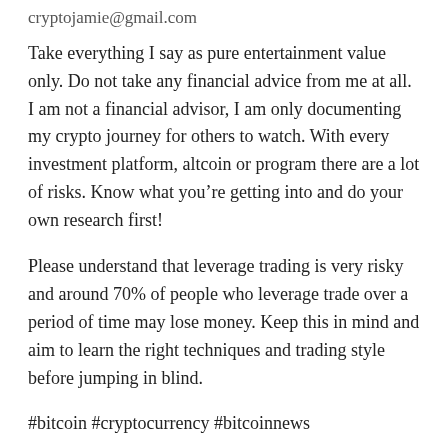cryptojamie@gmail.com
Take everything I say as pure entertainment value only. Do not take any financial advice from me at all. I am not a financial advisor, I am only documenting my crypto journey for others to watch. With every investment platform, altcoin or program there are a lot of risks. Know what you’re getting into and do your own research first!
Please understand that leverage trading is very risky and around 70% of people who leverage trade over a period of time may lose money. Keep this in mind and aim to learn the right techniques and trading style before jumping in blind.
#bitcoin #cryptocurrency #bitcoinnews
source